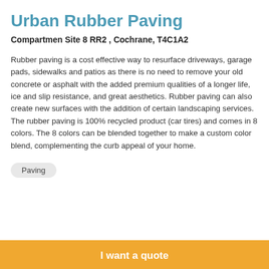Urban Rubber Paving
Compartmen Site 8 RR2 , Cochrane, T4C1A2
Rubber paving is a cost effective way to resurface driveways, garage pads, sidewalks and patios as there is no need to remove your old concrete or asphalt with the added premium qualities of a longer life, ice and slip resistance, and great aesthetics. Rubber paving can also create new surfaces with the addition of certain landscaping services. The rubber paving is 100% recycled product (car tires) and comes in 8 colors. The 8 colors can be blended together to make a custom color blend, complementing the curb appeal of your home.
Paving
I want a quote